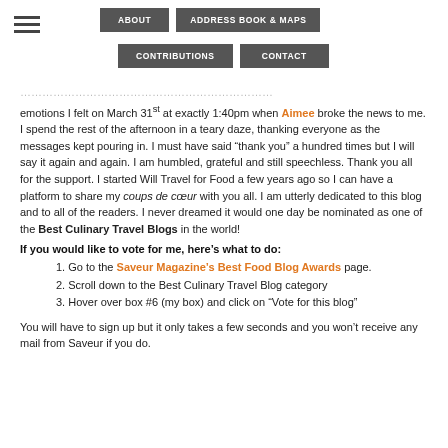ABOUT | ADDRESS BOOK & MAPS | CONTRIBUTIONS | CONTACT
emotions I felt on March 31st at exactly 1:40pm when Aimee broke the news to me. I spend the rest of the afternoon in a teary daze, thanking everyone as the messages kept pouring in. I must have said “thank you” a hundred times but I will say it again and again. I am humbled, grateful and still speechless. Thank you all for the support. I started Will Travel for Food a few years ago so I can have a platform to share my coups de cœur with you all. I am utterly dedicated to this blog and to all of the readers. I never dreamed it would one day be nominated as one of the Best Culinary Travel Blogs in the world!
If you would like to vote for me, here’s what to do:
1. Go to the Saveur Magazine’s Best Food Blog Awards page.
2. Scroll down to the Best Culinary Travel Blog category
3. Hover over box #6 (my box) and click on “Vote for this blog”
You will have to sign up but it only takes a few seconds and you won’t receive any mail from Saveur if you do.